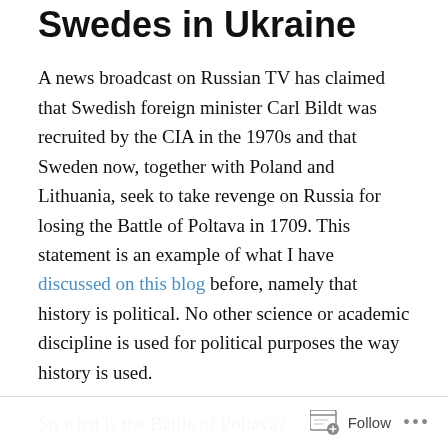Swedes in Ukraine
A news broadcast on Russian TV has claimed that Swedish foreign minister Carl Bildt was recruited by the CIA in the 1970s and that Sweden now, together with Poland and Lithuania, seek to take revenge on Russia for losing the Battle of Poltava in 1709. This statement is an example of what I have discussed on this blog before, namely that history is political. No other science or academic discipline is used for political purposes the way history is used.
So what is the Battle of Poltava?
Poltava is a city in central Ukraine with a population of 303,600 people. In 1709, Poltava was the scene of a military battle between the Russian forces of Czar Peter
Follow